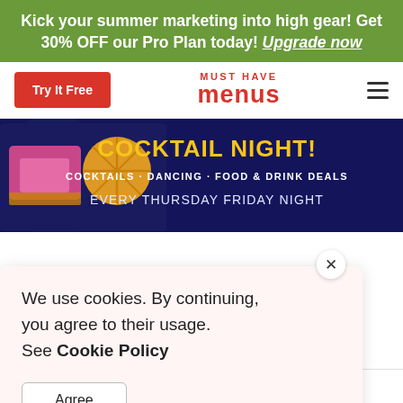Kick your summer marketing into high gear! Get 30% OFF our Pro Plan today! Upgrade now
[Figure (screenshot): Must Have Menus navigation bar with 'Try It Free' red button on left, MUST HAVE menus logo in center, hamburger menu icon on right]
[Figure (infographic): Cocktail Night promotional banner with dark blue background, pink flamingo/cocktail illustration on left, orange circular design, yellow text 'COCKTAIL NIGHT!', white bold text 'COCKTAILS · DANCING · FOOD & DRINK DEALS', white text 'EVERY THURSDAY FRIDAY NIGHT']
We use cookies. By continuing, you agree to their usage. See Cookie Policy
Agree
Share via link, QR, or Link Page